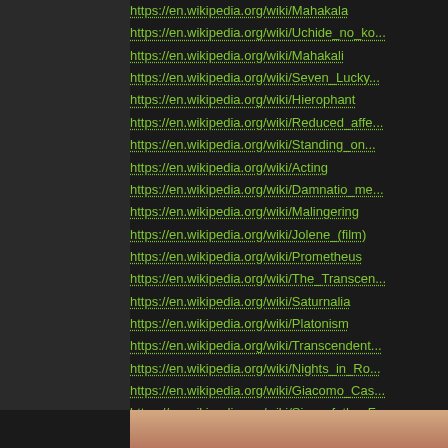https://en.wikipedia.org/wiki/Mahakala
https://en.wikipedia.org/wiki/Uchide_no_ko...
https://en.wikipedia.org/wiki/Mahakali
https://en.wikipedia.org/wiki/Seven_Lucky...
https://en.wikipedia.org/wiki/Hierophant
https://en.wikipedia.org/wiki/Reduced_affe...
https://en.wikipedia.org/wiki/Standing_on...
https://en.wikipedia.org/wiki/Acting
https://en.wikipedia.org/wiki/Damnatio_me...
https://en.wikipedia.org/wiki/Malingering
https://en.wikipedia.org/wiki/Jolene_(film)
https://en.wikipedia.org/wiki/Prometheus
https://en.wikipedia.org/wiki/The_Transcen...
https://en.wikipedia.org/wiki/Saturnalia
https://en.wikipedia.org/wiki/Platonism
https://en.wikipedia.org/wiki/Transcendent...
https://en.wikipedia.org/wiki/Nights_in_Ro...
https://en.wikipedia.org/wiki/Giacomo_Cas...
https://en.wikipedia.org/wiki/Sins_of_the_F...
https://en.wikipedia.org/wiki/Jehovah-jireh
https://en.wikipedia.org/wiki/Kemeko_Delu...
https://en.wikipedia.org/wiki/Liturgy_of_the...
[Figure (photo): Partial view of a face, cropped at bottom of page, warm skin tones]